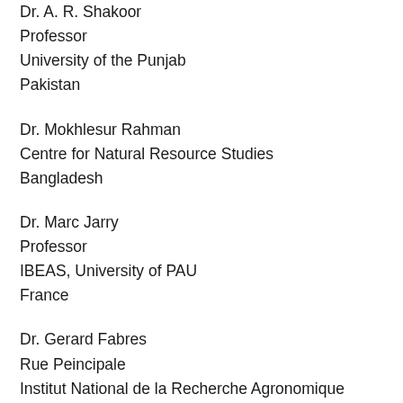Dr. A. R. Shakoor
Professor
University of the Punjab
Pakistan
Dr. Mokhlesur Rahman
Centre for Natural Resource Studies
Bangladesh
Dr. Marc Jarry
Professor
IBEAS, University of PAU
France
Dr. Gerard Fabres
Rue Peincipale
Institut National de la Recherche Agronomique
32160, Tasque
France